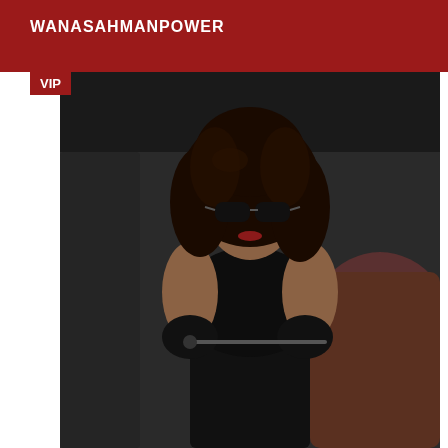WANASAHMANPOWER
VIP
[Figure (photo): A woman with curly black hair wearing sunglasses, a black leather halter top, and black gloves, seated on a dark leather couch, holding a riding crop.]